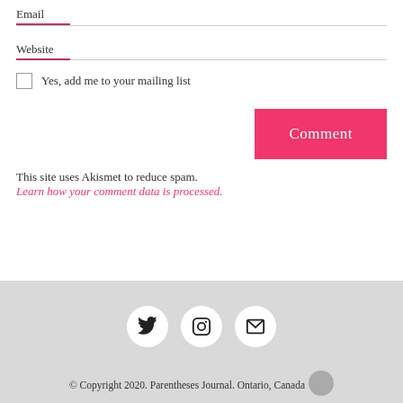Email
Website
Yes, add me to your mailing list
Comment
This site uses Akismet to reduce spam. Learn how your comment data is processed.
[Figure (infographic): Social media icon buttons: Twitter, Instagram, Email — white circles on grey background]
© Copyright 2020. Parentheses Journal. Ontario, Canada